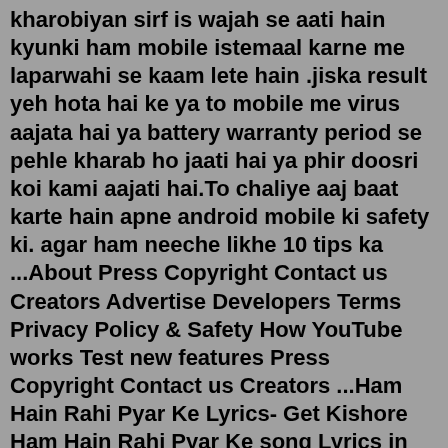kharobiyan sirf is wajah se aati hain kyunki ham mobile istemaal karne me laparwahi se kaam lete hain .jiska result yeh hota hai ke ya to mobile me virus aajata hai ya battery warranty period se pehle kharab ho jaati hai ya phir doosri koi kami aajati hai.To chaliye aaj baat karte hain apne android mobile ki safety ki. agar ham neeche likhe 10 tips ka ...About Press Copyright Contact us Creators Advertise Developers Terms Privacy Policy & Safety How YouTube works Test new features Press Copyright Contact us Creators ...Ham Hain Rahi Pyar Ke Lyrics- Get Kishore Ham Hain Rahi Pyar Ke song Lyrics in Hindi. ... Dekhiye To Kam Se Kam Boliye Na Boliye (x2) Jo Bhi Pyaar Se Mila Hum Usike Ho Liye ... Vibe Song Hanuman Chalisa 295 Black & White Mast Maula Dil Galti Kar Baitha Hai Party All Night Manike Mage Hithe Tamil Raataan Lambiyan Ik Mili Mainu Apsraa Baarish Ki ...Tanhaion Me Unko Hi Yaad Karte Hain, Wo Salamt Rahe Yahi Fariyad Karte Hai, Ham Unke Hi Mohabbt Ka Intzar Karte Hai, Unko Kya Pata Hum